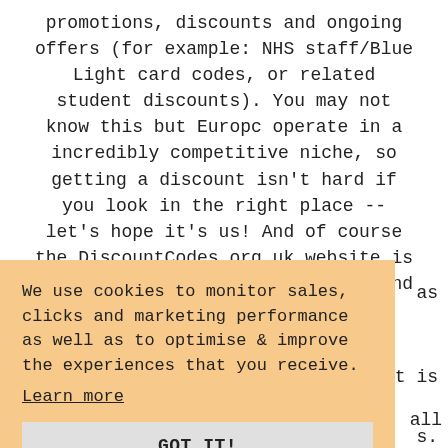promotions, discounts and ongoing offers (for example: NHS staff/Blue Light card codes, or related student discounts). You may not know this but Europc operate in a incredibly competitive niche, so getting a discount isn't hard if you look in the right place -- let's hope it's us! And of course the DiscountCodes.org.uk website is 'the home of the discount code' and
We use cookies to monitor sales, clicks and marketing performance as well as to optimise & improve the experiences that you receive. Learn more GOT IT!
deals and 0 Europc discount code(s), all of